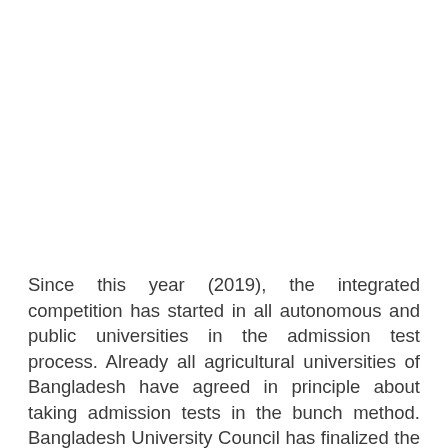Since this year (2019), the integrated competition has started in all autonomous and public universities in the admission test process. Already all agricultural universities of Bangladesh have agreed in principle about taking admission tests in the bunch method. Bangladesh University Council has finalized the proposal to cluster the rest of the universities in the same tribunal. Education Minister Dr. Dipu Moni